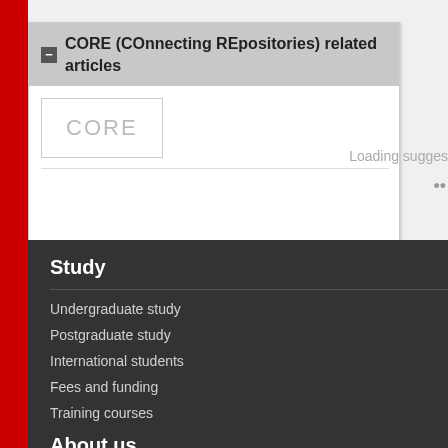CORE (COnnecting REpositories) related articles
[Figure (screenshot): CORE logo placeholder box with text 'CORE' in light grey, with a loading indicator showing 'Loading suggestions' text and animated dots on the right side]
Study
Undergraduate study
Postgraduate study
International students
Fees and funding
Training courses
About us